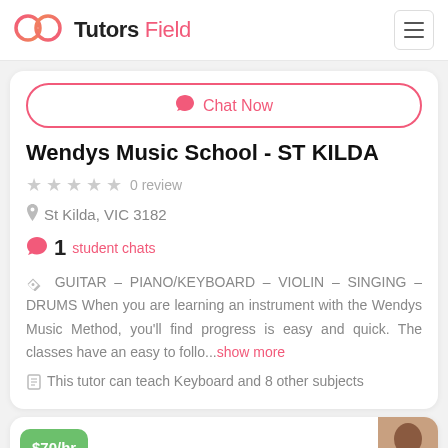Tutors Field
Chat Now
Wendys Music School - ST KILDA
0 review
St Kilda, VIC 3182
1 student chats
GUITAR – PIANO/KEYBOARD – VIOLIN – SINGING – DRUMS When you are learning an instrument with the Wendys Music Method, you'll find progress is easy and quick. The classes have an easy to follo...show more
This tutor can teach Keyboard and 8 other subjects
$70/hr